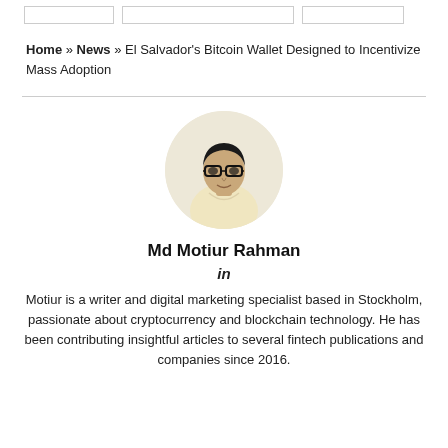Home » News » El Salvador's Bitcoin Wallet Designed to Incentivize Mass Adoption
[Figure (photo): Circular profile photo of Md Motiur Rahman, a man wearing glasses and a light yellow shirt, against a light background.]
Md Motiur Rahman
in
Motiur is a writer and digital marketing specialist based in Stockholm, passionate about cryptocurrency and blockchain technology. He has been contributing insightful articles to several fintech publications and companies since 2016.